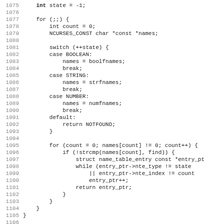[Figure (screenshot): Source code listing in C, lines 1075-1107, showing a for loop with switch-case statements and nested for loop for name table lookup.]